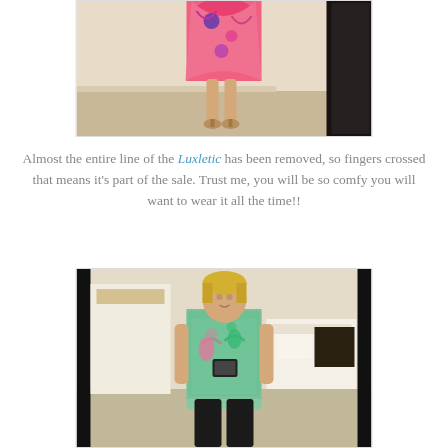[Figure (photo): Mirror selfie photo showing the lower half of a person wearing a colorful pink/orange/purple patterned dress with tan/nude heels, standing in a bedroom]
Almost the entire line of the Luxletic has been removed, so fingers crossed that means it's part of the sale. Trust me, you will be so comfy you will want to wear it all the time!!
[Figure (photo): Mirror selfie photo of a blonde woman in a colorful floral/flamingo print tank top with black leggings, taking a photo with her phone in a bedroom with dark wooden furniture]